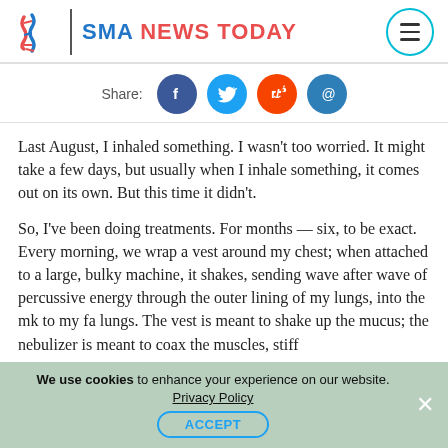[Figure (logo): SMA News Today logo with DNA helix icon and brand name]
[Figure (infographic): Share bar with Facebook, Twitter, Reddit, and Email social icons]
Last August, I inhaled something. I wasn't too worried. It might take a few days, but usually when I inhale something, it comes out on its own. But this time it didn't.
So, I've been doing treatments. For months — six, to be exact. Every morning, we wrap a vest around my chest; when attached to a large, bulky machine, it shakes, sending wave after wave of percussive energy through the outer lining of my lungs, into the m[ucus], [brea]k to my fa[ce/lungs], lungs. The vest is meant to shake up the mucus; the nebulizer is meant to coax the muscles, stiff
We use cookies to enhance your experience on our website. Privacy Policy ACCEPT